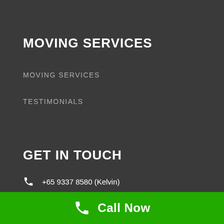MOVING SERVICES
MOVING SERVICES
TESTIMONIALS
GET IN TOUCH
+65 9337 8580 (Kelvin)
+65 93826081 (Jason)
#07-05, 8h Admiralty Street, 8h @ Admiralty
Call Now